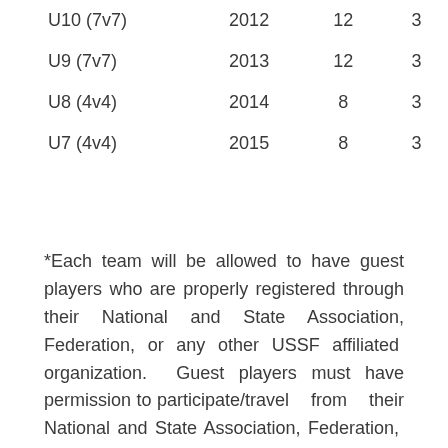| U10 (7v7) | 2012 | 12 | 3 |
| U9 (7v7) | 2013 | 12 | 3 |
| U8 (4v4) | 2014 | 8 | 3 |
| U7 (4v4) | 2015 | 8 | 3 |
*Each team will be allowed to have guest players who are properly registered through their National and State Association, Federation, or any other USSF affiliated organization. Guest players must have permission to participate/travel from their National and State Association, Federation, or any other USSF